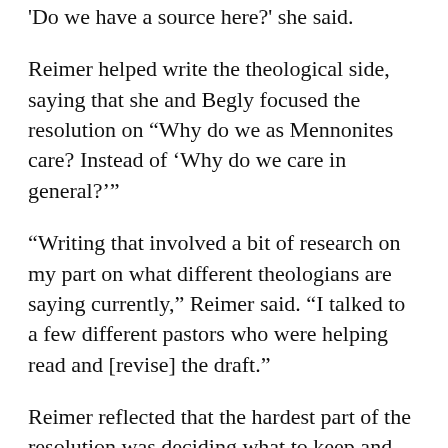'Do we have a source here?' she said.
Reimer helped write the theological side, saying that she and Begly focused the resolution on “Why do we as Mennonites care? Instead of ‘Why do we care in general?’”
“Writing that involved a bit of research on my part on what different theologians are saying currently,” Reimer said. “I talked to a few different pastors who were helping read and [revise] the draft.”
Reimer reflected that the hardest part of the resolution was deciding what to keep and trim.